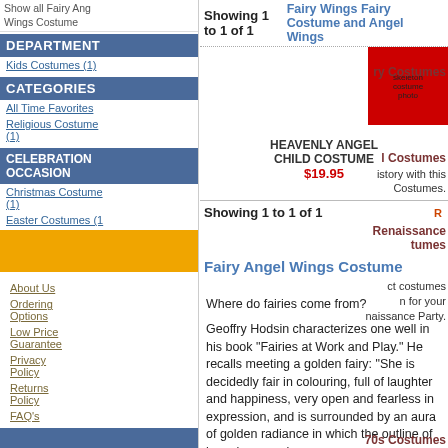Show all Fairy Angel Wings Costume
Showing 1 to 1 of 1
Fairy Wings Fairy Costume and Angel Wings Costume
DEPARTMENT
Kids Costumes (1)
CATEGORIES
All Time Favorites
Religious Costume (1)
CELEBRATION OCCASION
Christmas Costumes (1)
Easter Costumes (1)
HEAVENLY ANGEL CHILD COSTUME
$19.95
ry Costumes
ing Halloween
y at Halloween
ne Sale.
l Costumes
istory with this Costumes.
Showing 1 to 1 of 1
Renaissance tumes
Fairy Angel Wings Costume
Where do fairies come from?
Geoffry Hodsin characterizes one well in his book "Fairies at Work and Play." He recalls meeting a golden fairy: "She is decidedly fair in colouring, full of laughter and happiness, very open and fearless in expression, and is surrounded by an aura of golden radiance in which the outline of her wings can be
ct costumes
n for your
naissance Party.
70s Costumes
ne memories of
s with this
About Us
Ordering Options
Low Price Guarantee
Privacy Policy
Returns Policy
FAQ's
View Wishlist